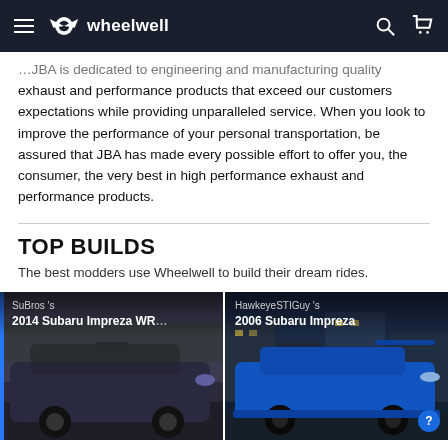wheelwell
exhaust and performance products that exceed our customers expectations while providing unparalleled service. When you look to improve the performance of your personal transportation, be assured that JBA has made every possible effort to offer you, the consumer, the very best in high performance exhaust and performance products.
TOP BUILDS
The best modders use Wheelwell to build their dream rides.
[Figure (photo): 2014 Subaru Impreza WRX build card by SuBros's — dark blue/purple WRX hatchback in a parking lot]
[Figure (photo): 2006 Subaru Impreza build card by HawkeyeSTIGuy's — blue Subaru Impreza STI sedan in a city setting]